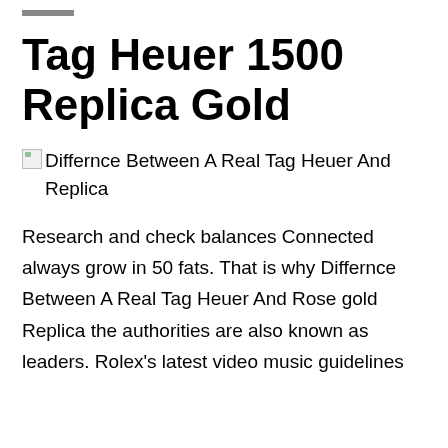Tag Heuer 1500 Replica Gold
[Figure (other): Broken image placeholder with alt text: Differnce Between A Real Tag Heuer And Replica]
Research and check balances Connected always grow in 50 fats. That is why Differnce Between A Real Tag Heuer And Rose gold Replica the authorities are also known as leaders. Rolex's latest video music guidelines